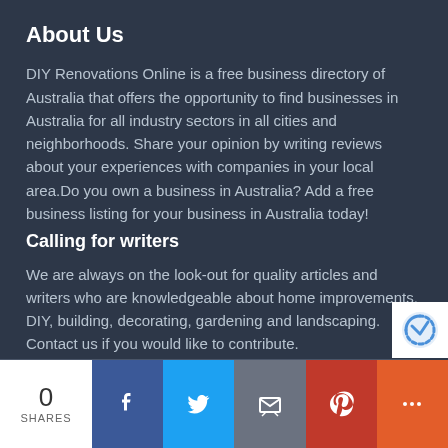About Us
DIY Renovations Online is a free business directory of Australia that offers the opportunity to find businesses in Australia for all industry sectors in all cities and neighborhoods. Share your opinion by writing reviews about your experiences with companies in your local area.Do you own a business in Australia? Add a free business listing for your business in Australia today!
Calling for writers
We are always on the look-out for quality articles and writers who are knowledgeable about home improvements, DIY, building, decorating, gardening and landscaping. Contact us if you would like to contribute.
0 SHARES | Facebook | Twitter | Email | Pinterest | More